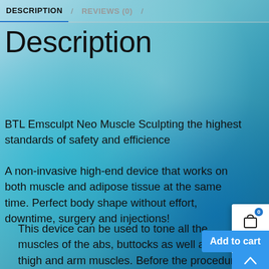DESCRIPTION / REVIEWS (0) /
Description
BTL Emsculpt Neo Muscle Sculpting the highest standards of safety and efficience
A non-invasive high-end device that works on both muscle and adipose tissue at the same time. Perfect body shape without effort, downtime, surgery and injections!
This device can be used to tone all the muscles of the abs, buttocks as well as calf, thigh and arm muscles. Before the procedure, you will discuss your health possible contraindications with our physician you will be asked to set aside all electronic devices and remove all metal objects, including clothing with